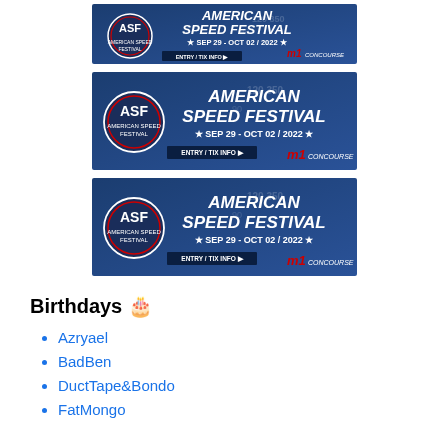[Figure (illustration): American Speed Festival banner ad: blue background with ASF logo, text 'AMERICAN SPEED FESTIVAL * SEP 29 - OCT 02 / 2022 *', 'ENTRY / TIX INFO' and M1 Concourse logo (top, partially cropped)]
[Figure (illustration): American Speed Festival banner ad: blue background with ASF logo, text 'AMERICAN SPEED FESTIVAL * SEP 29 - OCT 02 / 2022 *', 'ENTRY / TIX INFO' and M1 Concourse logo (middle)]
[Figure (illustration): American Speed Festival banner ad: blue background with ASF logo, text 'AMERICAN SPEED FESTIVAL * SEP 29 - OCT 02 / 2022 *', 'ENTRY / TIX INFO' and M1 Concourse logo (bottom)]
Birthdays 🎂
Azryael
BadBen
DuctTape&Bondo
FatMongo